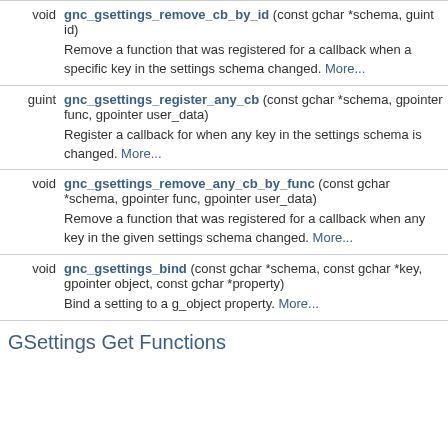| Return type | Function |
| --- | --- |
| void | gnc_gsettings_remove_cb_by_id (const gchar *schema, guint id) — Remove a function that was registered for a callback when a specific key in the settings schema changed. More... |
| guint | gnc_gsettings_register_any_cb (const gchar *schema, gpointer func, gpointer user_data) — Register a callback for when any key in the settings schema is changed. More... |
| void | gnc_gsettings_remove_any_cb_by_func (const gchar *schema, gpointer func, gpointer user_data) — Remove a function that was registered for a callback when any key in the given settings schema changed. More... |
| void | gnc_gsettings_bind (const gchar *schema, const gchar *key, gpointer object, const gchar *property) — Bind a setting to a g_object property. More... |
GSettings Get Functions